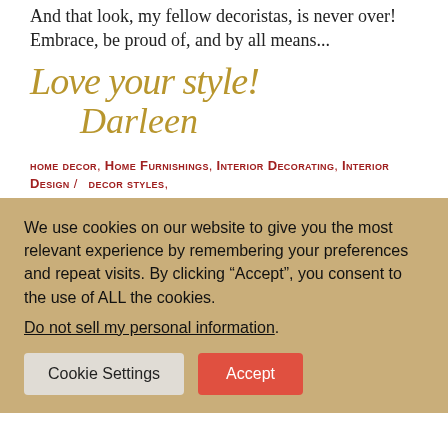And that look, my fellow decoristas, is never over! Embrace, be proud of, and by all means...
Love your style!
Darleen
HOME DECOR, Home Furnishings, Interior Decorating, Interior Design / decor styles,
We use cookies on our website to give you the most relevant experience by remembering your preferences and repeat visits. By clicking “Accept”, you consent to the use of ALL the cookies.
Do not sell my personal information.
Cookie Settings
Accept